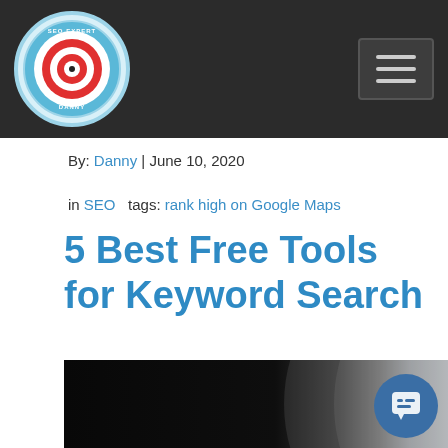SEO Expert Danny | Navigation menu
By: Danny | June 10, 2020
in SEO   tags: rank high on Google Maps
5 Best Free Tools for Keyword Search
[Figure (photo): Dark moody photo of a metallic/tool surface, predominantly black on the left and grey curved metallic surface on the right]